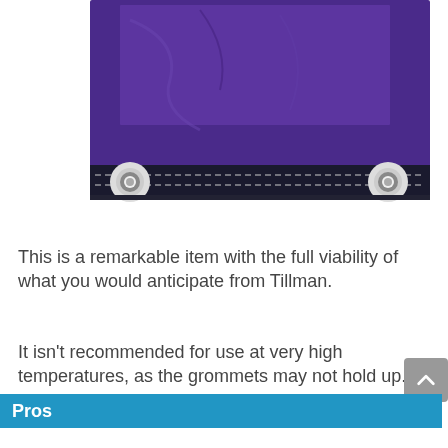[Figure (photo): Close-up photo of a purple vinyl welding curtain or blanket with silver grommets at the corners, showing stitching detail along the edge.]
This is a remarkable item with the full viability of what you would anticipate from Tillman.
It isn't recommended for use at very high temperatures, as the grommets may not hold up.
Pros